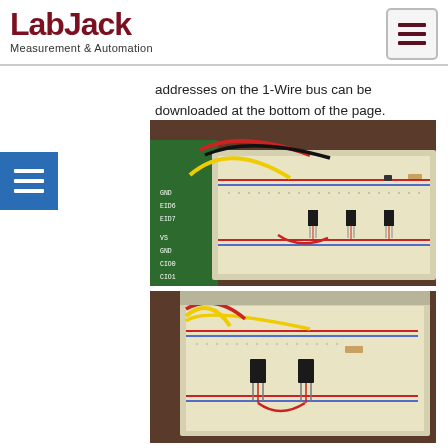LabJack – Measurement & Automation
addresses on the 1-Wire bus can be downloaded at the bottom of the page.
[Figure (photo): Photo of LabJack U3 device connected to a breadboard with multiple DS18B20 temperature sensors (black TO-92 components) and colored jumper wires (red, black, yellow). Green PCB on the left shows labeled pins including GND, EID6, EID7, VS, GND, CIO0, CIO1, VS, GND.]
[Figure (photo): Close-up photo of a breadboard with DS18B20 temperature sensors and colored jumper wires (yellow, red) showing the sensor connections more closely.]